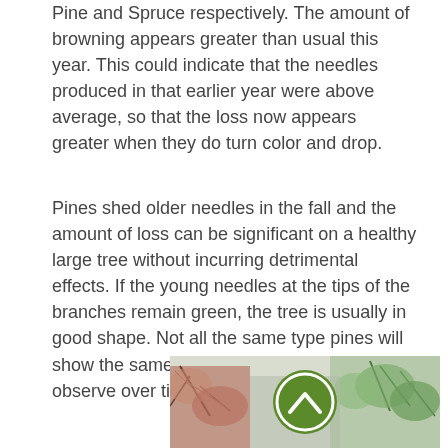Pine and Spruce respectively. The amount of browning appears greater than usual this year. This could indicate that the needles produced in that earlier year were above average, so that the loss now appears greater when they do turn color and drop.
Pines shed older needles in the fall and the amount of loss can be significant on a healthy large tree without incurring detrimental effects. If the young needles at the tips of the branches remain green, the tree is usually in good shape. Not all the same type pines will show the same degree of shedding, so observe over time.
[Figure (photo): Photo of pine trees with browning and green needles, with a circular green scroll-up button overlaid in the center]